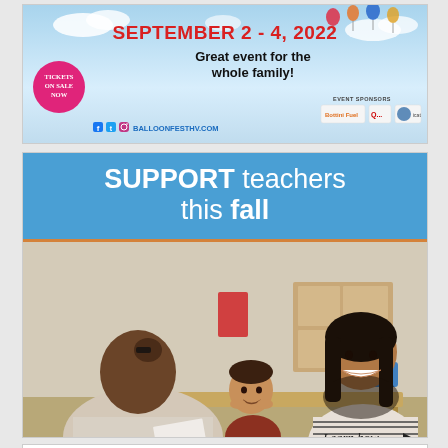[Figure (illustration): Balloon Festival advertisement banner showing 'SEPTEMBER 2-4, 2022 Great event for the whole family!' with a pink Tickets On Sale Now badge, social media icons, balloonfesthv.com, and event sponsors including Bottini Fuel.]
[Figure (photo): Advertisement showing 'SUPPORT teachers this fall' in white text on blue banner, with a classroom photo of a smiling teacher, a young boy student, and a parent or another adult at a table. 'Learn how →' text in bottom right corner. Photo courtesy of Getty Images.]
[Figure (illustration): Partial view of a third advertisement at the very bottom of the page, cropped.]